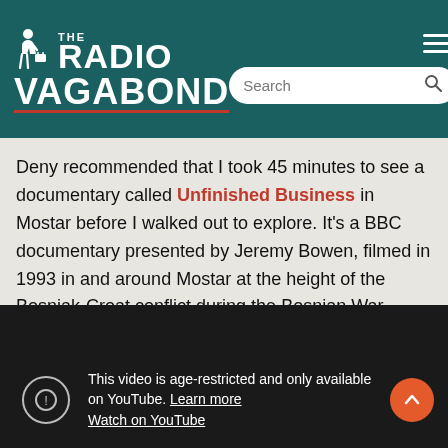[Figure (logo): The Radio Vagabond logo on teal/dark green background with hamburger menu and search bar]
Deny recommended that I took 45 minutes to see a documentary called Unfinished Business in Mostar before I walked out to explore. It’s a BBC documentary presented by Jeremy Bowen, filmed in 1993 in and around Mostar at the height of the Bosniak-Croat conflict during the Bosnian War.
[Figure (screenshot): Embedded YouTube video player showing age-restriction message: 'This video is age-restricted and only available on YouTube. Learn more' and 'Watch on YouTube']